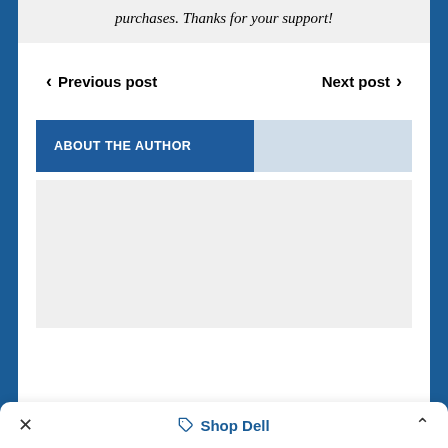purchases. Thanks for your support!
‹ Previous post    Next post ›
ABOUT THE AUTHOR
[Figure (other): Gray placeholder box for author content area]
✕   Shop Dell   ˄